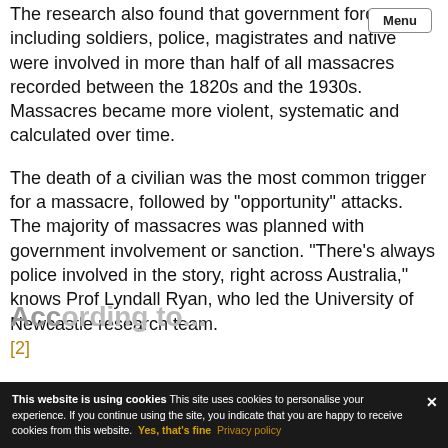The research also found that government forces, including soldiers, police, magistrates and native were involved in more than half of all massacres recorded between the 1820s and the 1930s. Massacres became more violent, systematic and calculated over time.
The death of a civilian was the most common trigger for a massacre, followed by "opportunity" attacks. The majority of massacres was planned with government involvement or sanction. "There's always police involved in the story, right across Australia," knows Prof Lyndall Ryan, who led the University of Newcastle research team. [2]
According to...
This website is using cookies This site uses cookies to personalise your experience. If you continue using the site, you indicate that you are happy to receive cookies from this website. Yes, that's fine Privacy policy